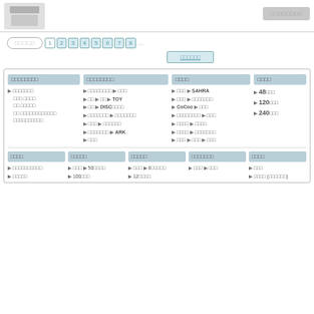[Figure (screenshot): Website header with logo placeholder on left and button on right]
Navigation with search box and page numbers 1 2 3 4 5 6 7 8 ...
Sub navigation button
| カテゴリー1 | カテゴリー2 | ジャンル | その他 |
| --- | --- | --- | --- |
| ▶ □□□□□□□ | ▶ □□□□□□□□ ▶ □□□ | ▶ □□□ ▶ SAHRA | ▶ 48□□□ |
| □□□ □□□□ | ▶ □□ ▶ □□ ▶ TOY | ▶ □□□ ▶ □□□□□□□ | ▶ 120□□□ |
| □□ □□□□□ | ▶ □□ ▶ DISC□□□□ | ▶ CoCoo ▶ □□□ | ▶ 240□□□ |
| □□ □□□□□□□□□□□□ | ▶ □□□□□□□ ▶ □□□□□□□ | ▶ □□□□□□□□ ▶ □□□ |  |
| □□□□□□□□□□ | ▶ □□□ ▶ □□□□□□ | ▶ □□□□ ▶ □□□□ |  |
|  | ▶ □□□□□□□ ▶ ARK | ▶ □□□□ ▶ □□□□□□□ |  |
|  | ▶ □□□ | ▶ □□□ ▶ □□□ ▶ □□□ |  |
| □□□□ | □□□□□ | □□□□□ | □□□□□□□ | □□□□ |
| --- | --- | --- | --- | --- |
| ▶ □□□□□□□□□□ | ▶ □□□ ▶ 50□□□□ | ▶ □□□ ▶ 6□□□□□ | ▶ □□□ ▶ □□□ | ▶ □□□ |
| ▶ □□□□□ | ▶ 100□□□ | ▶ 12□□□□ |  | ▶ □□□□ (□□□□□□) |